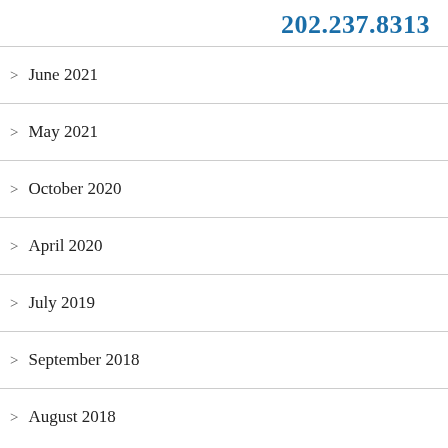202.237.8313
> June 2021
> May 2021
> October 2020
> April 2020
> July 2019
> September 2018
> August 2018